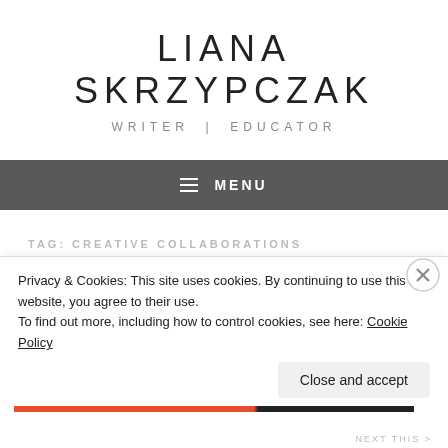LIANA SKRZYPCZAK
WRITER | EDUCATOR
≡  MENU
TAG: CREATIVE COLLABORATIONS
Privacy & Cookies: This site uses cookies. By continuing to use this website, you agree to their use.
To find out more, including how to control cookies, see here: Cookie Policy
Close and accept